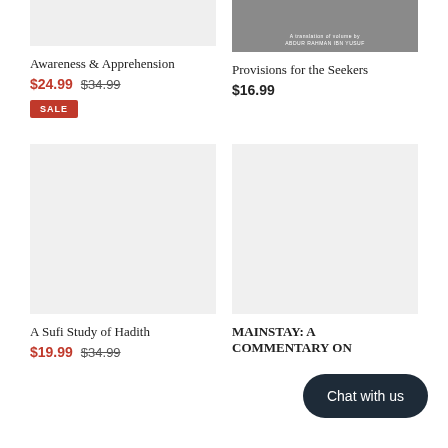[Figure (photo): Book cover placeholder for Awareness & Apprehension, light gray background]
[Figure (photo): Book cover for Provisions for the Seekers, dark gray background with author text]
Awareness & Apprehension
$24.99  $34.99
SALE
Provisions for the Seekers
$16.99
[Figure (photo): Book cover placeholder for A Sufi Study of Hadith, light gray background]
[Figure (photo): Book cover placeholder for MAINSTAY: A COMMENTARY ON, light gray background]
A Sufi Study of Hadith
$19.99  $34.99
MAINSTAY: A COMMENTARY ON
Chat with us